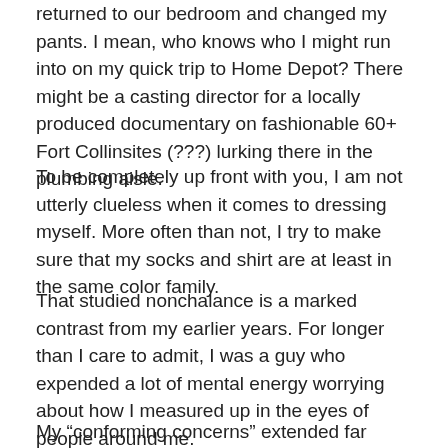returned to our bedroom and changed my pants. I mean, who knows who I might run into on my quick trip to Home Depot? There might be a casting director for a locally produced documentary on fashionable 60+ Fort Collinsites (???) lurking there in the plumbing aisle.
To be completely up front with you, I am not utterly clueless when it comes to dressing myself. More often than not, I try to make sure that my socks and shirt are at least in the same color family.
That studied nonchalance is a marked contrast from my earlier years. For longer than I care to admit, I was a guy who expended a lot of mental energy worrying about how I measured up in the eyes of people around me.
My “conforming concerns” extended far beyond the realm of wardrobe. Yes, I worried not only about WEARING the